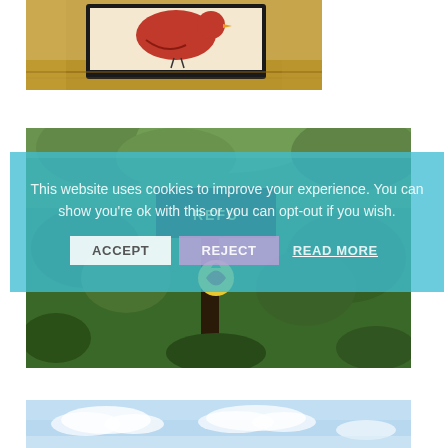[Figure (photo): Photo of a framed bird artwork (bird silhouette in red/orange and black) sitting on a wooden windowsill]
[Figure (photo): Photo of a wildlife refuge sign partially visible, surrounded by green foliage and trees]
This website uses cookies to improve your experience. You can show you're ok with this or you can opt-out if you wish.
[Figure (photo): Photo of a light blue sky with white clouds, bottom portion of image]